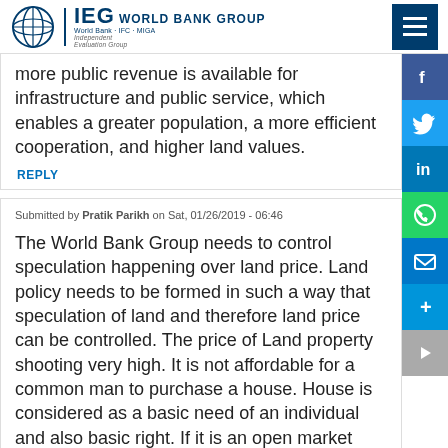IEG World Bank Group — Independent Evaluation Group — World Bank + IFC + MIGA
more public revenue is available for infrastructure and public service, which enables a greater population, a more efficient cooperation, and higher land values.
REPLY
Submitted by Pratik Parikh on Sat, 01/26/2019 - 06:46
The World Bank Group needs to control speculation happening over land price. Land policy needs to be formed in such a way that speculation of land and therefore land price can be controlled. The price of Land property shooting very high. It is not affordable for a common man to purchase a house. House is considered as a basic need of an individual and also basic right. If it is an open market than government should make a win-win situation. The government